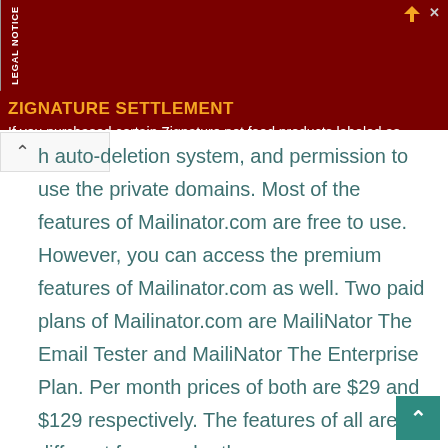[Figure (other): Advertisement banner for Zignature Settlement legal notice with dark red background, gold title 'ZIGNATURE SETTLEMENT' and white body text about pet food class action]
h auto-deletion system, and permission to use the private domains. Most of the features of Mailinator.com are free to use. However, you can access the premium features of Mailinator.com as well. Two paid plans of Mailinator.com are MailiNator The Email Tester and MailiNator The Enterprise Plan. Per month prices of both are $29 and $129 respectively. The features of all are different from each other.